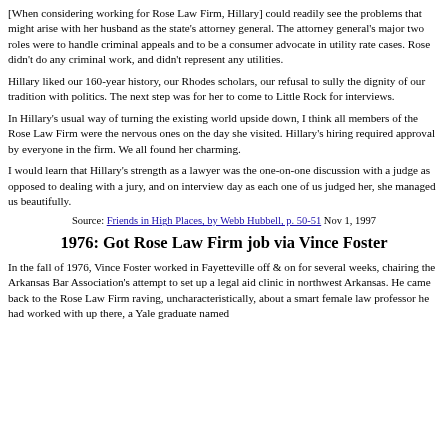[When considering working for Rose Law Firm, Hillary] could readily see the problems that might arise with her husband as the state's attorney general. The attorney general's major two roles were to handle criminal appeals and to be a consumer advocate in utility rate cases. Rose didn't do any criminal work, and didn't represent any utilities.
Hillary liked our 160-year history, our Rhodes scholars, our refusal to sully the dignity of our tradition with politics. The next step was for her to come to Little Rock for interviews.
In Hillary's usual way of turning the existing world upside down, I think all members of the Rose Law Firm were the nervous ones on the day she visited. Hillary's hiring required approval by everyone in the firm. We all found her charming.
I would learn that Hillary's strength as a lawyer was the one-on-one discussion with a judge as opposed to dealing with a jury, and on interview day as each one of us judged her, she managed us beautifully.
Source: Friends in High Places, by Webb Hubbell, p. 50-51 Nov 1, 1997
1976: Got Rose Law Firm job via Vince Foster
In the fall of 1976, Vince Foster worked in Fayetteville off & on for several weeks, chairing the Arkansas Bar Association's attempt to set up a legal aid clinic in northwest Arkansas. He came back to the Rose Law Firm raving, uncharacteristically, about a smart female law professor he had worked with up there, a Yale graduate named